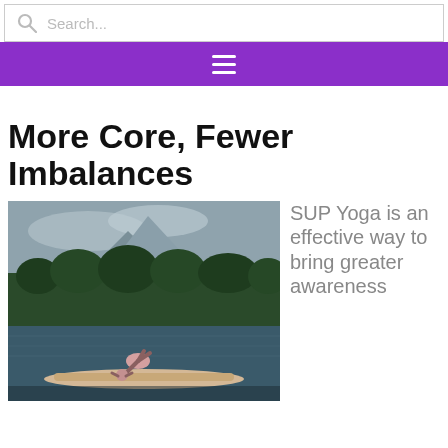Search...
[Figure (screenshot): Purple navigation bar with hamburger menu icon (three white horizontal lines)]
More Core, Fewer Imbalances
[Figure (photo): Person performing a yoga pose on a paddleboard (SUP) on a lake with trees and mountains in the background]
SUP Yoga is an effective way to bring greater awareness